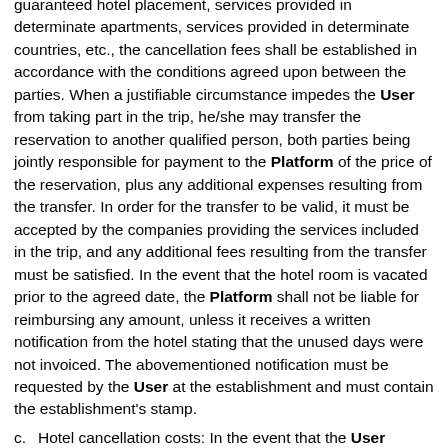guaranteed hotel placement, services provided in determinate apartments, services provided in determinate countries, etc., the cancellation fees shall be established in accordance with the conditions agreed upon between the parties. When a justifiable circumstance impedes the User from taking part in the trip, he/she may transfer the reservation to another qualified person, both parties being jointly responsible for payment to the Platform of the price of the reservation, plus any additional expenses resulting from the transfer. In order for the transfer to be valid, it must be accepted by the companies providing the services included in the trip, and any additional fees resulting from the transfer must be satisfied. In the event that the hotel room is vacated prior to the agreed date, the Platform shall not be liable for reimbursing any amount, unless it receives a written notification from the hotel stating that the unused days were not invoiced. The abovementioned notification must be requested by the User at the establishment and must contain the establishment's stamp.
c. Hotel cancellation costs: In the event that the User cancels or modifies the reservation, the User must contact the tour organiser by telephone, or at the email address provided to